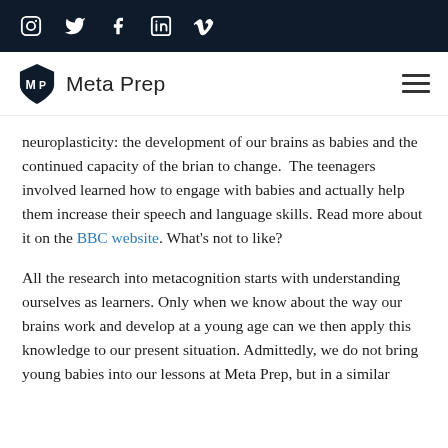Social media icons: Instagram, Twitter, Facebook, LinkedIn, Vimeo
[Figure (logo): Meta Prep logo with shield icon and text 'Meta Prep']
neuroplasticity: the development of our brains as babies and the continued capacity of the brian to change.  The teenagers involved learned how to engage with babies and actually help them increase their speech and language skills. Read more about it on the BBC website. What's not to like?
All the research into metacognition starts with understanding ourselves as learners. Only when we know about the way our brains work and develop at a young age can we then apply this knowledge to our present situation. Admittedly, we do not bring young babies into our lessons at Meta Prep, but in a similar